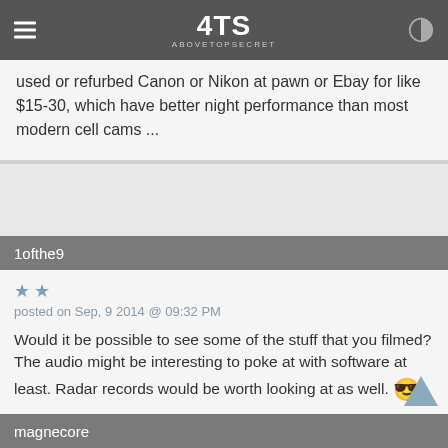4TS AboveTopSecret
used or refurbed Canon or Nikon at pawn or Ebay for like $15-30, which have better night performance than most modern cell cams ...
1ofthe9
posted on Sep, 9 2014 @ 09:32 PM
Would it be possible to see some of the stuff that you filmed? The audio might be interesting to poke at with software at least. Radar records would be worth looking at as well. 😎

You mention other sightings: what kind of frequency do you see these things? Do you have old mines on the property?
magnecore